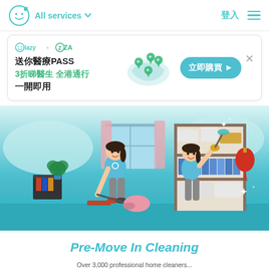All services  登入  ☰
[Figure (screenshot): Advertisement banner: Glazy x ZA logo, Chinese text '送你醫療PASS 3折睇醫生 全港通行 一開即用', map of Hong Kong with location pins, teal '立即購買▶' button, close X]
[Figure (illustration): Illustration of two female cleaners in light blue uniforms: one vacuuming the floor, one dusting a shelf with books and boxes. Decorative plant, Chinese red lantern, teal/light blue background blobs.]
Pre-Move In Cleaning
Over 3,000 professional home cleaners...